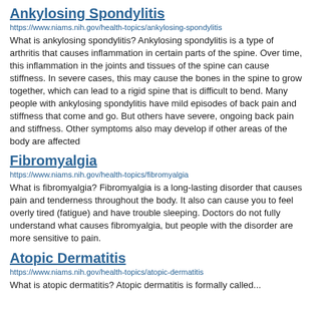Ankylosing Spondylitis
https://www.niams.nih.gov/health-topics/ankylosing-spondylitis
What is ankylosing spondylitis? Ankylosing spondylitis is a type of arthritis that causes inflammation in certain parts of the spine. Over time, this inflammation in the joints and tissues of the spine can cause stiffness. In severe cases, this may cause the bones in the spine to grow together, which can lead to a rigid spine that is difficult to bend. Many people with ankylosing spondylitis have mild episodes of back pain and stiffness that come and go. But others have severe, ongoing back pain and stiffness. Other symptoms also may develop if other areas of the body are affected
Fibromyalgia
https://www.niams.nih.gov/health-topics/fibromyalgia
What is fibromyalgia? Fibromyalgia is a long-lasting disorder that causes pain and tenderness throughout the body. It also can cause you to feel overly tired (fatigue) and have trouble sleeping. Doctors do not fully understand what causes fibromyalgia, but people with the disorder are more sensitive to pain.
Atopic Dermatitis
https://www.niams.nih.gov/health-topics/atopic-dermatitis
What is atopic dermatitis? Atopic dermatitis is formally called...